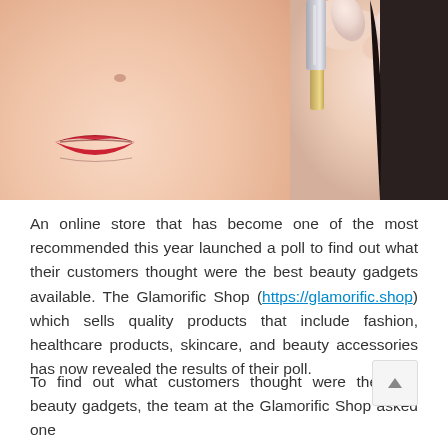[Figure (photo): Close-up photo of a woman's face (nose and lips visible, wearing red lipstick) with a hand holding a beauty product (lipstick or serum tube) near her cheek. The hand has manicured nails with light pink polish.]
An online store that has become one of the most recommended this year launched a poll to find out what their customers thought were the best beauty gadgets available. The Glamorific Shop (https://glamorific.shop) which sells quality products that include fashion, healthcare products, skincare, and beauty accessories has now revealed the results of their poll.
To find out what customers thought were the best beauty gadgets, the team at the Glamorific Shop asked one